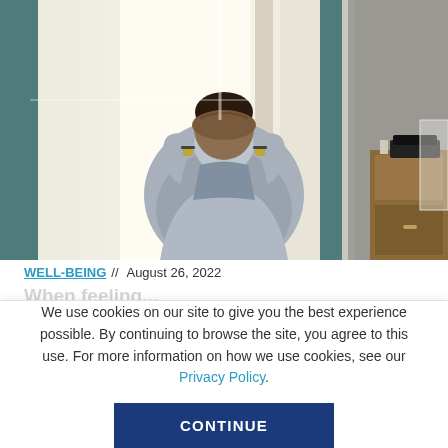[Figure (photo): A man sitting with his back to the camera, hands clasped behind his head, looking out a large window with sheer white curtains. The room has teal/dark curtains on the sides, and a wooden dresser with a telephone is visible to the right. The lighting is bright and natural.]
WELL-BEING // August 26, 2022
We use cookies on our site to give you the best experience possible. By continuing to browse the site, you agree to this use. For more information on how we use cookies, see our Privacy Policy.
CONTINUE